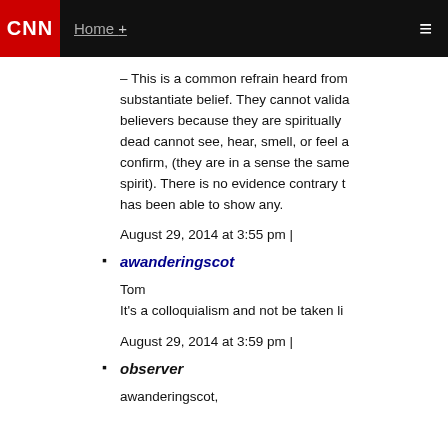CNN | Home +
– This is a common refrain heard from substantiate belief. They cannot valida believers because they are spiritually dead cannot see, hear, smell, or feel a confirm, (they are in a sense the same spirit). There is no evidence contrary t has been able to show any.
August 29, 2014 at 3:55 pm |
awanderingscot
Tom
It's a colloquialism and not be taken li
August 29, 2014 at 3:59 pm |
observer
awanderingscot,